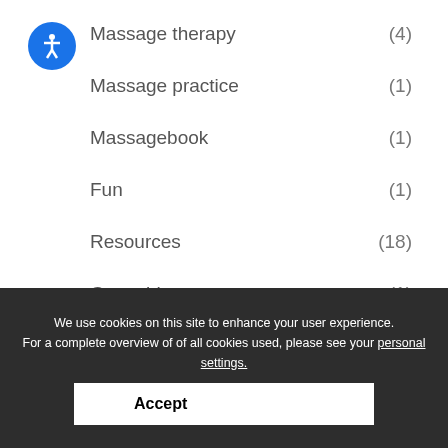Massage therapy (4)
Massage practice (1)
Massagebook (1)
Fun (1)
Resources (18)
Guest blog (1)
We use cookies on this site to enhance your user experience. For a complete overview of of all cookies used, please see your personal settings.
Accept